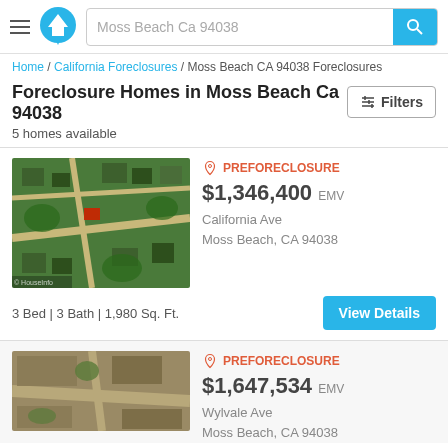Moss Beach Ca 94038
Home / California Foreclosures / Moss Beach CA 94038 Foreclosures
Foreclosure Homes in Moss Beach Ca 94038
5 homes available
[Figure (screenshot): Aerial satellite view of residential neighborhood in Moss Beach]
PREFORECLOSURE
$1,346,400 EMV
California Ave
Moss Beach, CA 94038
3 Bed | 3 Bath | 1,980 Sq. Ft.
[Figure (screenshot): Aerial satellite view of residential property in Moss Beach]
PREFORECLOSURE
$1,647,534 EMV
Wylvale Ave
Moss Beach, CA 94038